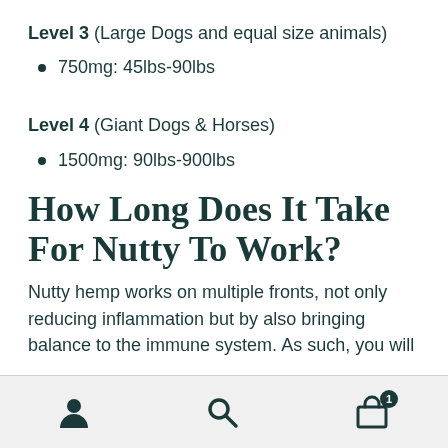Level 3 (Large Dogs and equal size animals)
750mg: 45lbs-90lbs
Level 4 (Giant Dogs & Horses)
1500mg: 90lbs-900lbs
How Long Does It Take For Nutty To Work?
Nutty hemp works on multiple fronts, not only reducing inflammation but by also bringing balance to the immune system. As such, you will